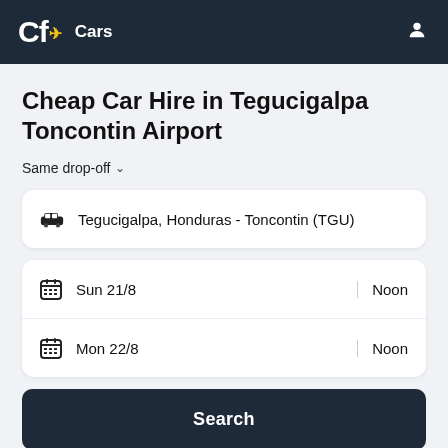Cf Cars
Cheap Car Hire in Tegucigalpa Toncontin Airport
Same drop-off
Tegucigalpa, Honduras - Toncontin (TGU)
Sun 21/8 | Noon
Mon 22/8 | Noon
Search
DRIVER'S AGE: 26-65  OTHER